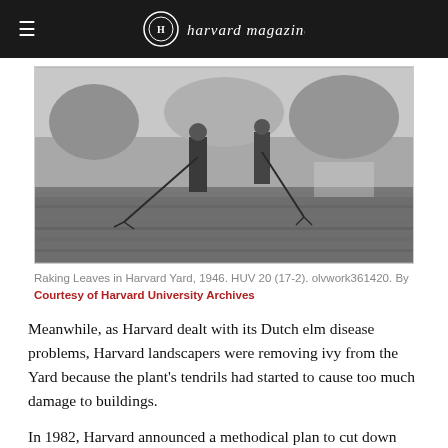≡  [Harvard Magazine logo]
[Figure (photo): Black and white photograph of workers raking leaves in Harvard Yard, 1946. Two figures are visible using long-handled rakes on a leaf-covered lawn, with trees in the background.]
Raking Leaves in Harvard Yard, 1946. HUV 20 (17-2). olvwork361420. By Courtesy of Harvard University Archives
Meanwhile, as Harvard dealt with its Dutch elm disease problems, Harvard landscapers were removing ivy from the Yard because the plant's tendrils had started to cause too much damage to buildings.
In 1982, Harvard announced a methodical plan to cut down